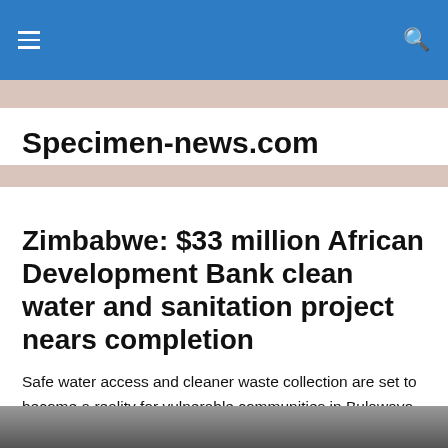Specimen-news.com
Zimbabwe: $33 million African Development Bank clean water and sanitation project nears completion
Safe water access and cleaner waste collection are set to become a reality for vulnerable communities in Bulawayo, Zimbabwe, as a Bank-funded water and sewerage improvement project enters its final phase.
[Figure (photo): Partial photo strip visible at bottom of page]